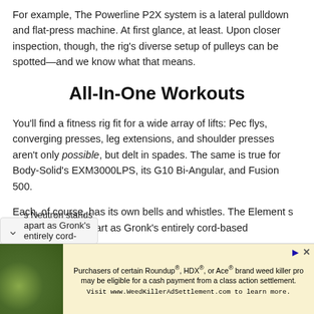For example, The Powerline P2X system is a lateral pulldown and flat-press machine. At first glance, at least. Upon closer inspection, though, the rig's diverse setup of pulleys can be spotted—and we know what that means.
All-In-One Workouts
You'll find a fitness rig fit for a wide array of lifts: Pec flys, converging presses, leg extensions, and shoulder presses aren't only possible, but delt in spades. The same is true for Body-Solid's EXM3000LPS, its G10 Bi-Angular, and Fusion 500.
Each, of course, has its own bells and whistles. The Element s Neutron stands apart as Gronk's entirely cord-based
[Figure (infographic): Advertisement banner: yellow/tan background with image of plants/flowers on the left. Text reads: Purchasers of certain Roundup®, HDX®, or Ace® brand weed killer products may be eligible for a cash payment from a class action settlement. Visit www.WeedKillerAdSettlement.com to learn more.]